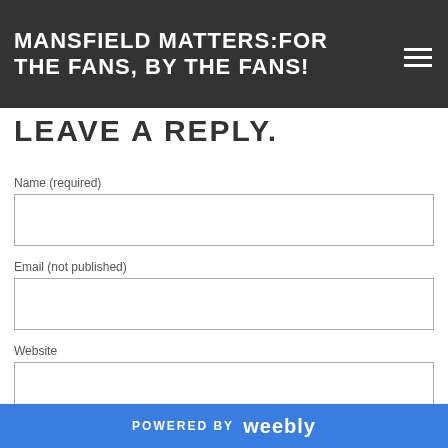MANSFIELD MATTERS:FOR THE FANS, BY THE FANS!
LEAVE A REPLY.
Name (required)
Email (not published)
Website
Comments (required)
POWERED BY weebly